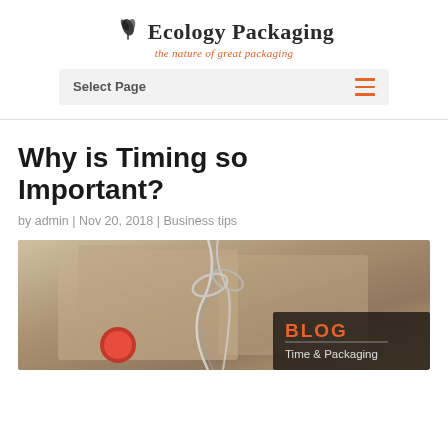Ecology Packaging — the nature of great packaging
Select Page
Why is Timing so Important?
by admin | Nov 20, 2018 | Business tips
[Figure (photo): Wrapped brown paper gift packages with twine/string bow and a red decorative element, with a dark overlay box in the bottom right showing 'BLOG' in orange and 'Time & Packaging' in white text.]